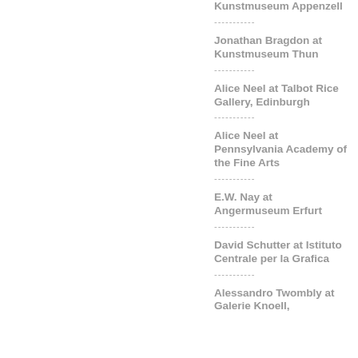Kunstmuseum Appenzell
Jonathan Bragdon at Kunstmuseum Thun
Alice Neel at Talbot Rice Gallery, Edinburgh
Alice Neel at Pennsylvania Academy of the Fine Arts
E.W. Nay at Angermuseum Erfurt
David Schutter at Istituto Centrale per la Grafica
Alessandro Twombly at Galerie Knoell,